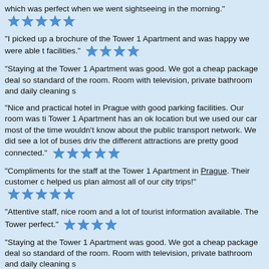which was perfect when we went sightseeing in the morning.
"I picked up a brochure of the Tower 1 Apartment and was happy we were able to facilities."
"Staying at the Tower 1 Apartment was good. We got a cheap package deal so standard of the room. Room with television, private bathroom and daily cleaning s
"Nice and practical hotel in Prague with good parking facilities. Our room was ti Tower 1 Apartment has an ok location but we used our car most of the time wouldn't know about the public transport network. We did see a lot of buses driv the different attractions are pretty good connected."
"Compliments for the staff at the Tower 1 Apartment in Prague. Their customer c helped us plan almost all of our city trips!"
"Attentive staff, nice room and a lot of tourist information available. The Tower perfect."
"Staying at the Tower 1 Apartment was good. We got a cheap package deal so standard of the room. Room with television, private bathroom and daily cleaning s
"During our holiday in Prague we stayed at the Tower 1 Apartment. The hotel wa were tidy and cleaned every day. A pleasent stay!"
"Nice hotel with great designed rooms and a beautiful city view. An easy walk to a